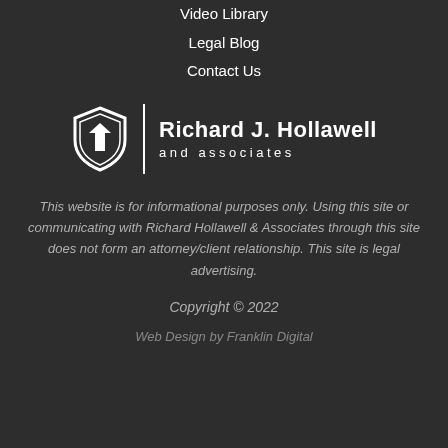Video Library
Legal Blog
Contact Us
[Figure (logo): Richard J. Hollawell and associates logo with shield icon and vertical divider]
This website is for informational purposes only. Using this site or communicating with Richard Hollawell & Associates through this site does not form an attorney/client relationship. This site is legal advertising.
Copyright © 2022
Web Design by Franklin Digital